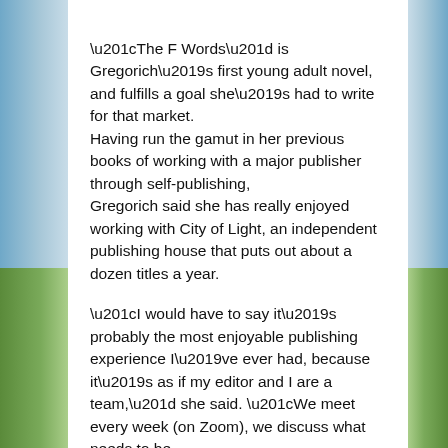“The F Words” is Gregorich’s first young adult novel, and fulfills a goal she’s had to write for that market.
Having run the gamut in her previous books of working with a major publisher through self-publishing,
Gregorich said she has really enjoyed working with City of Light, an independent publishing house that puts out about a dozen titles a year.
“I would have to say it’s probably the most enjoyable publishing experience I’ve ever had, because it’s as if my editor and I are a team,” she said. “We meet every week (on Zoom), we discuss what needs to be